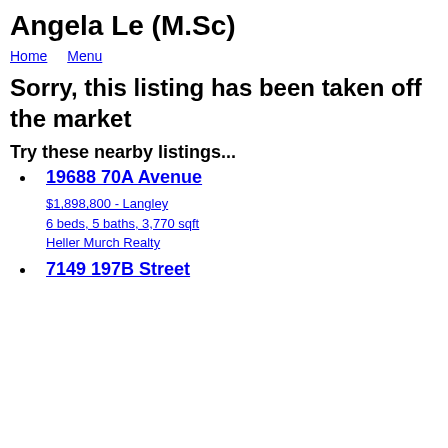Angela Le (M.Sc)
Home  Menu
Sorry, this listing has been taken off the market
Try these nearby listings...
19688 70A Avenue
$1,898,800 - Langley
6 beds, 5 baths, 3,770 sqft
Heller Murch Realty
7149 197B Street